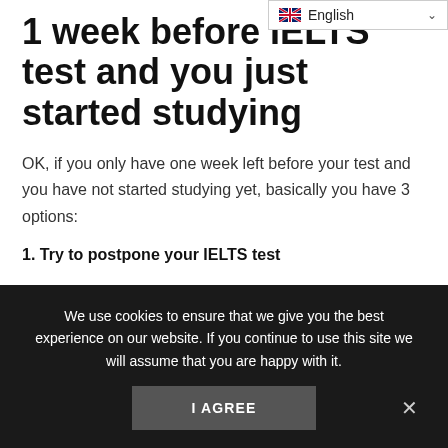[Figure (screenshot): Language selector dropdown showing UK flag and 'English' label with chevron]
1 week before IELTS test and you just started studying
OK, if you only have one week left before your test and you have not started studying yet, basically you have 3 options:
1. Try to postpone your IELTS test
If you are hoping to get an IELTS Band 7 score and 1 week before the test you are a 4, 5 or 6 only, it is highly unlikely that you will raise your level of English up one whole band score
We use cookies to ensure that we give you the best experience on our website. If you continue to use this site we will assume that you are happy with it.